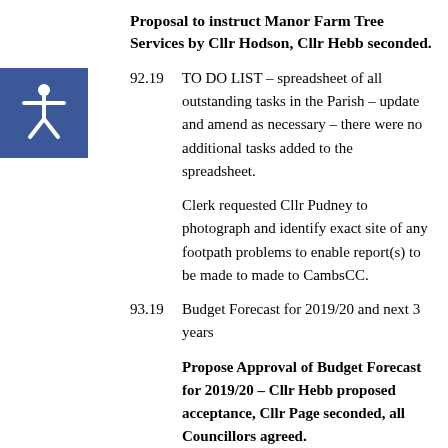Proposal to instruct Manor Farm Tree Services by Cllr Hodson, Cllr Hebb seconded.
92.19	TO DO LIST – spreadsheet of all outstanding tasks in the Parish – update and amend as necessary – there were no additional tasks added to the spreadsheet.
Clerk requested Cllr Pudney to photograph and identify exact site of any footpath problems to enable report(s) to be made to made to CambsCC.
93.19	Budget Forecast for 2019/20 and next 3 years
Propose Approval of Budget Forecast for 2019/20 – Cllr Hebb proposed acceptance, Cllr Page seconded, all Councillors agreed.